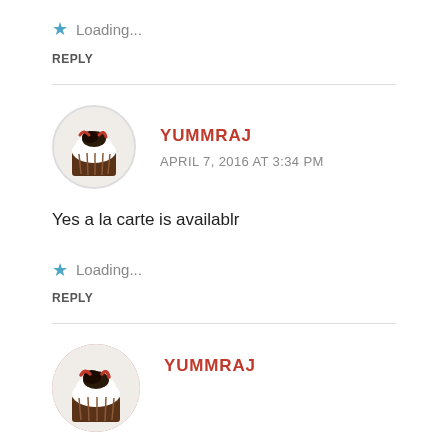★ Loading...
REPLY
YUMMRAJ
APRIL 7, 2016 AT 3:34 PM
Yes a la carte is availablr
★ Loading...
REPLY
YUMMRAJ